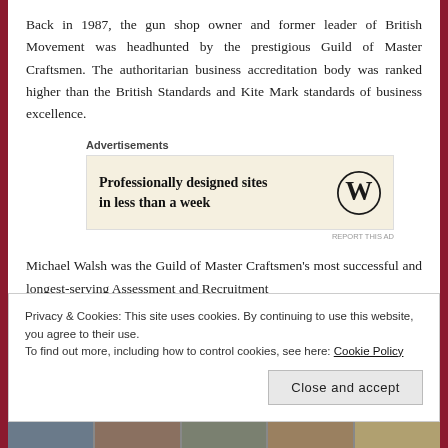Back in 1987, the gun shop owner and former leader of British Movement was headhunted by the prestigious Guild of Master Craftsmen. The authoritarian business accreditation body was ranked higher than the British Standards and Kite Mark standards of business excellence.
[Figure (other): WordPress advertisement: 'Professionally designed sites in less than a week' with WordPress logo on beige background. Labeled 'Advertisements' above, 'REPORT THIS AD' below right.]
Michael Walsh was the Guild of Master Craftsmen's most successful and longest-serving Assessment and Recruitment
Privacy & Cookies: This site uses cookies. By continuing to use this website, you agree to their use.
To find out more, including how to control cookies, see here: Cookie Policy
Close and accept